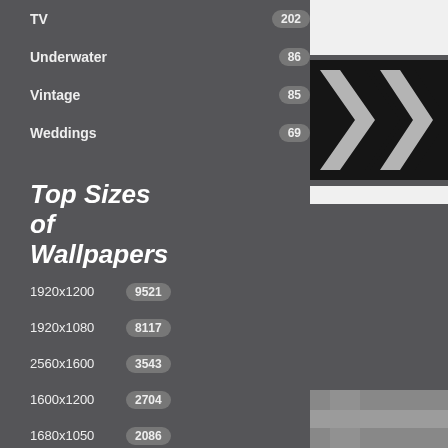TV 202
Underwater 86
Vintage 85
Weddings 69
Top Sizes of Wallpapers
1920x1200 9521
1920x1080 8117
2560x1600 3543
1600x1200 2704
1680x1050 2086
1024x768 (truncated)
[Figure (photo): White rectangle at top right]
[Figure (photo): Black and white arrow/chevron street marking photograph]
[Figure (photo): White bar/strip]
[Figure (photo): Partial grey/silver photo at bottom right]